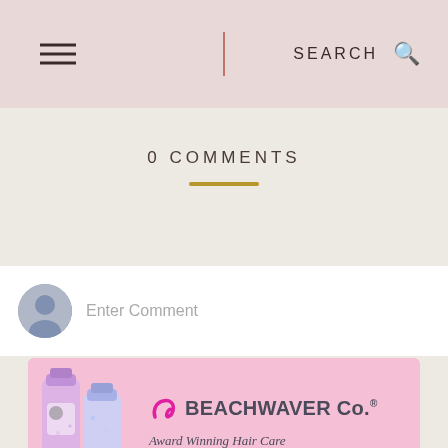SEARCH
0 COMMENTS
Enter Comment
[Figure (illustration): Beachwaver Co. advertisement banner with pink background, product bottles on left, pink swirl logo, bold brand name BEACHWAVER Co. and tagline Award Winning Hair Care]